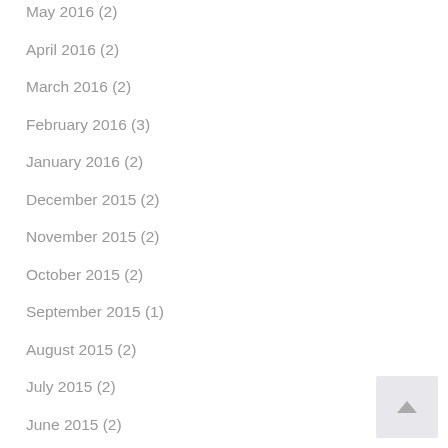May 2016 (2)
April 2016 (2)
March 2016 (2)
February 2016 (3)
January 2016 (2)
December 2015 (2)
November 2015 (2)
October 2015 (2)
September 2015 (1)
August 2015 (2)
July 2015 (2)
June 2015 (2)